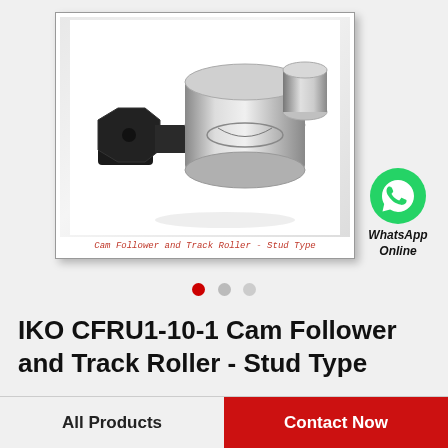[Figure (photo): IKO CFRU1-10-1 Cam Follower and Track Roller - Stud Type product photo showing a metal bearing with a black hex bolt stud and silver cylindrical roller housing]
Cam Follower and Track Roller - Stud Type
[Figure (other): WhatsApp Online contact button with green WhatsApp icon]
IKO CFRU1-10-1 Cam Follower and Track Roller - Stud Type
All Products
Contact Now